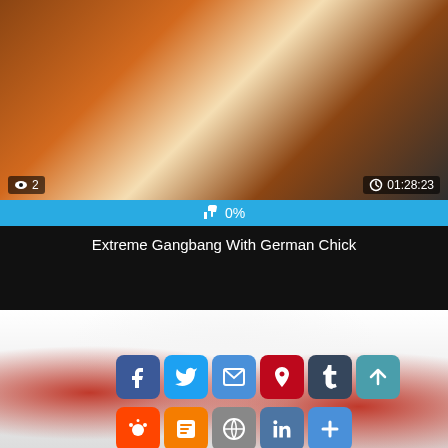[Figure (photo): Adult video thumbnail showing explicit content]
👁 2   🕐 01:28:23
👍 0%
Extreme Gangbang With German Chick
[Figure (photo): Second video thumbnail with social sharing icons overlay including Facebook, Twitter, Email, Pinterest, Tumblr, scroll-up, Reddit, Blogger, WordPress, VK, and More buttons]